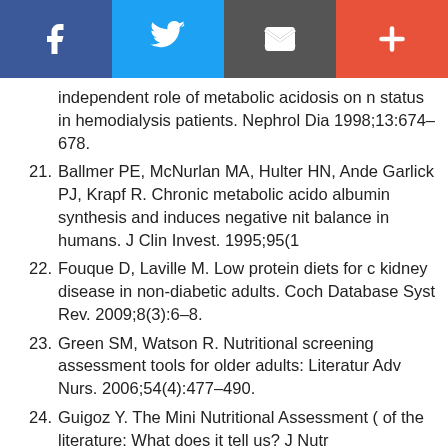[Figure (other): Social media sharing bar with Facebook (blue), Twitter (light blue), Email (dark grey), and More/Plus (red-orange) buttons]
independent role of metabolic acidosis on nutritional status in hemodialysis patients. Nephrol Dia… 1998;13:674–678.
21. Ballmer PE, McNurlan MA, Hulter HN, Ande… Garlick PJ, Krapf R. Chronic metabolic acido… albumin synthesis and induces negative nit… balance in humans. J Clin Invest. 1995;95(1)…
22. Fouque D, Laville M. Low protein diets for c… kidney disease in non-diabetic adults. Coch… Database Syst Rev. 2009;8(3):6–8.
23. Green SM, Watson R. Nutritional screening… assessment tools for older adults: Literatur… Adv Nurs. 2006;54(4):477–490.
24. Guigoz Y. The Mini Nutritional Assessment (… of the literature: What does it tell us? J Nutr…